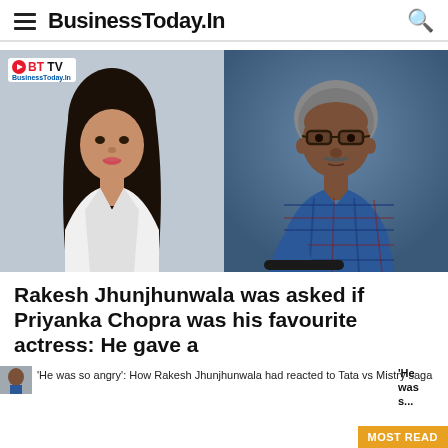BusinessToday.In
[Figure (photo): Two-photo collage: left photo shows a woman with long dark hair wearing a white blazer (Priyanka Chopra); right photo shows a man with glasses wearing a blue plaid shirt (Rakesh Jhunjhunwala). The left image has a BT TV logo badge in the upper-left corner and '29 N' text visible. The right image has a blue-grey background.]
Rakesh Jhunjhunwala was asked if Priyanka Chopra was his favourite actress: He gave a
'He was so angry': How Rakesh Jhunjhunwala had reacted to Tata vs Mistry saga
'He was s...
MOST READ